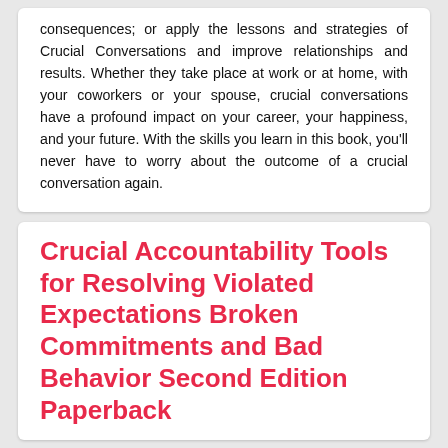consequences; or apply the lessons and strategies of Crucial Conversations and improve relationships and results. Whether they take place at work or at home, with your coworkers or your spouse, crucial conversations have a profound impact on your career, your happiness, and your future. With the skills you learn in this book, you'll never have to worry about the outcome of a crucial conversation again.
Crucial Accountability Tools for Resolving Violated Expectations Broken Commitments and Bad Behavior Second Edition Paperback
[Figure (other): Book cover image showing 'THE NEW YORK TIMES BESTSELLER' text in a bordered box, with a subtitle line below partially visible.]